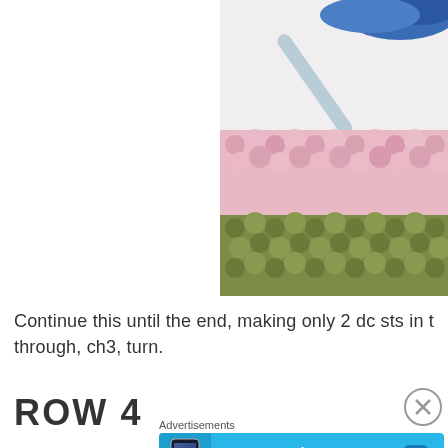[Figure (photo): Close-up photograph of crochet work in progress showing pink and olive green yarn stitches with a light blue/grey crochet hook visible at the top right, along with blue variegated yarn]
Continue this until the end, making only 2 dc sts in t through, ch3, turn.
ROW 4
Advertisements
[Figure (screenshot): Advertisement banner for Day One app - Your Journal for life, shown on a blue background with a phone mockup on the left and the Day One logo/text on the right]